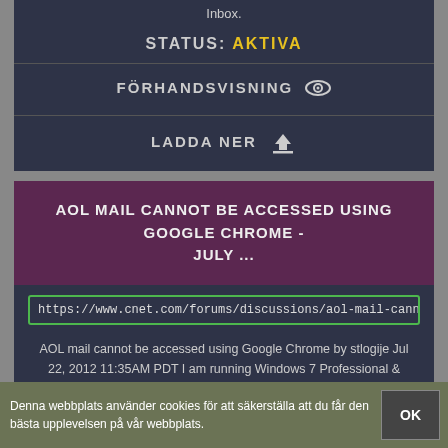Inbox.
STATUS: AKTIVA
FÖRHANDSVISNING 👁
LADDA NER ⬇
AOL MAIL CANNOT BE ACCESSED USING GOOGLE CHROME - JULY ...
https://www.cnet.com/forums/discussions/aol-mail-cannot-be-accessed-u
AOL mail cannot be accessed using Google Chrome by stlogije Jul 22, 2012 11:35AM PDT I am running Windows 7 Professional & Google Chrome version 20.0.1132.57 m.
STATUS: AKTIVA
Denna webbplats använder cookies för att säkerställa att du får den bästa upplevelsen på vår webbplats.